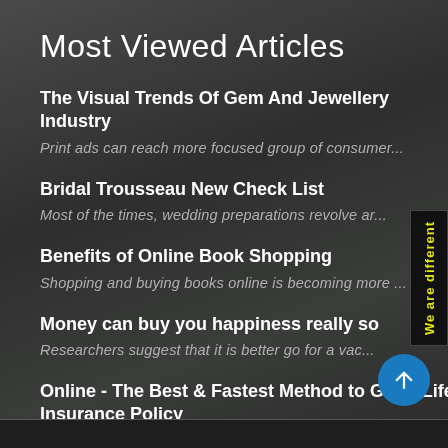Most Viewed Articles
The Visual Trends Of Gem And Jewellery Industry
Print ads can reach more focused group of consumer...
Bridal Trousseau New Check List
Most of the times, wedding preparations revolve ar...
Benefits of Online Book Shopping
Shopping and buying books online is becoming more ...
Money can buy you happiness really so
Researchers suggest that it is better go for a vac...
Online - The Best & Fastest Method to Get A Life Insurance Policy
A life insurance policy is an investment that requ...